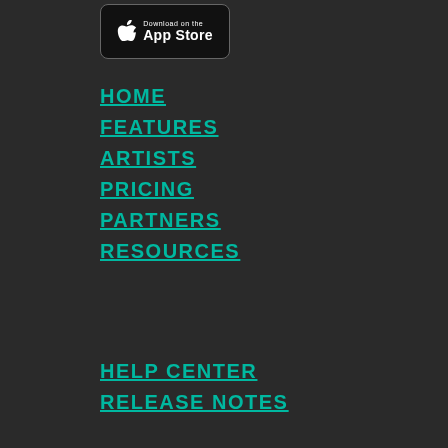[Figure (logo): Apple App Store download badge button with Apple logo]
HOME
FEATURES
ARTISTS
PRICING
PARTNERS
RESOURCES
HELP CENTER
RELEASE NOTES